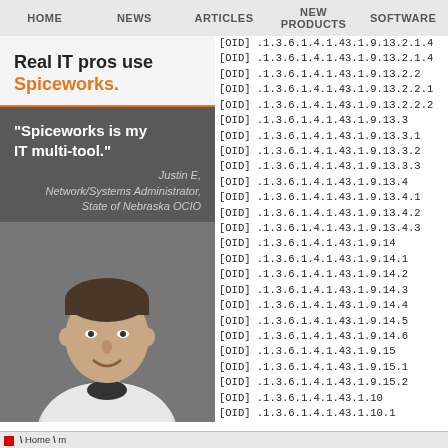HOME  NEWS  ARTICLES  NEW PRODUCTS  SOFTWARE
[Figure (illustration): Spiceworks advertisement banner with text 'Real IT pros use Spiceworks.' and a testimonial quote 'Spiceworks is my IT multi-tool.' attributed to Justin E, Network/Systems Administrator, State of Nebraska OCIO, with a photo of a smiling man]
[OID] .1.3.6.1.4.1.43.1.9.13.2.1.4
[OID] .1.3.6.1.4.1.43.1.9.13.2.1.4
[OID] .1.3.6.1.4.1.43.1.9.13.2.2
[OID] .1.3.6.1.4.1.43.1.9.13.2.2.1
[OID] .1.3.6.1.4.1.43.1.9.13.2.2.2
[OID] .1.3.6.1.4.1.43.1.9.13.3
[OID] .1.3.6.1.4.1.43.1.9.13.3.1
[OID] .1.3.6.1.4.1.43.1.9.13.3.2
[OID] .1.3.6.1.4.1.43.1.9.13.3.3
[OID] .1.3.6.1.4.1.43.1.9.13.4
[OID] .1.3.6.1.4.1.43.1.9.13.4.1
[OID] .1.3.6.1.4.1.43.1.9.13.4.2
[OID] .1.3.6.1.4.1.43.1.9.13.4.3
[OID] .1.3.6.1.4.1.43.1.9.14
[OID] .1.3.6.1.4.1.43.1.9.14.1
[OID] .1.3.6.1.4.1.43.1.9.14.2
[OID] .1.3.6.1.4.1.43.1.9.14.3
[OID] .1.3.6.1.4.1.43.1.9.14.4
[OID] .1.3.6.1.4.1.43.1.9.14.5
[OID] .1.3.6.1.4.1.43.1.9.14.6
[OID] .1.3.6.1.4.1.43.1.9.15
[OID] .1.3.6.1.4.1.43.1.9.15.1
[OID] .1.3.6.1.4.1.43.1.9.15.2
[OID] .1.3.6.1.4.1.43.1.10
[OID] .1.3.6.1.4.1.43.1.10.1
Home \ m